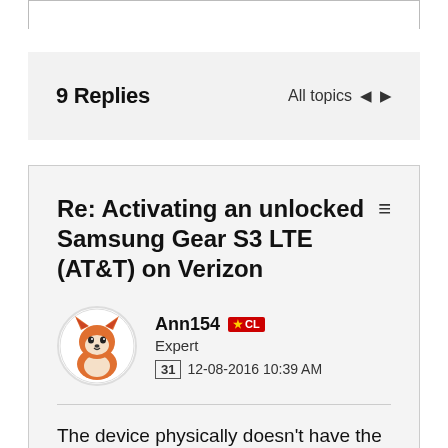9 Replies
Re: Activating an unlocked Samsung Gear S3 LTE (AT&T) on Verizon
Ann154 Expert 12-08-2016 10:39 AM
The device physically doesn't have the radio